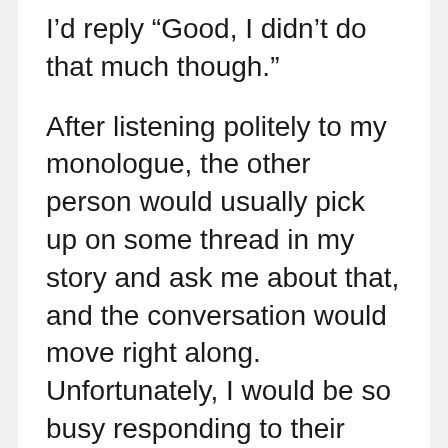I’d reply “Good, I didn’t do that much though.”
After listening politely to my monologue, the other person would usually pick up on some thread in my story and ask me about that, and the conversation would move right along. Unfortunately, I would be so busy responding to their questions that I’d forget to ask them anything about themselves. How I came across: friendly, chatty, ramble-y, and self-centered.
If I’d given the “didn’t do much” answer